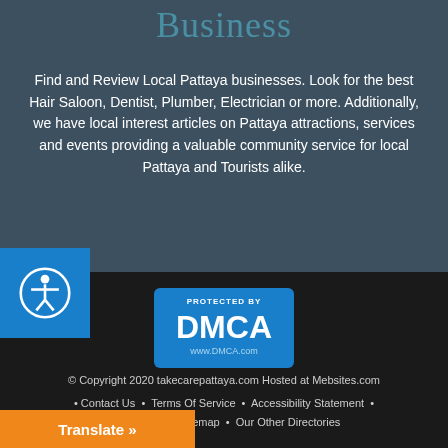Business
Find and Review Local Pattaya businesses. Look for the best Hair Saloon, Dentist, Plumber, Electrician or more. Additionally, we have local interest articles on Pattaya attractions, services and events providing a valuable community service for local Pattaya and Tourists alike.
[Figure (logo): DMCA Protected badge with blue background showing 'PROTECTED BY DMCA www.DMCA.com']
© Copyright 2020 takecarepattaya.com Hosted at Mebsites.com • Contact Us • Terms Of Service • Accessibility Statement • omit Listing • Sitemap • Our Other Directories